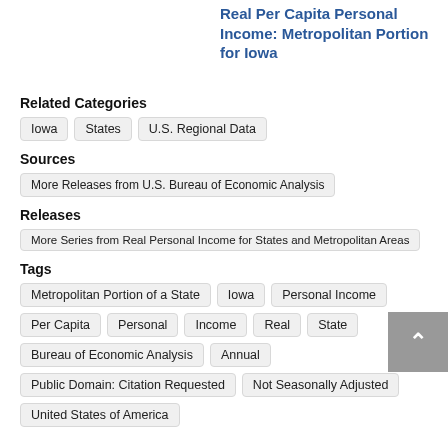Real Per Capita Personal Income: Metropolitan Portion for Iowa
Related Categories
Iowa
States
U.S. Regional Data
Sources
More Releases from U.S. Bureau of Economic Analysis
Releases
More Series from Real Personal Income for States and Metropolitan Areas
Tags
Metropolitan Portion of a State
Iowa
Personal Income
Per Capita
Personal
Income
Real
State
Bureau of Economic Analysis
Annual
Public Domain: Citation Requested
Not Seasonally Adjusted
United States of America